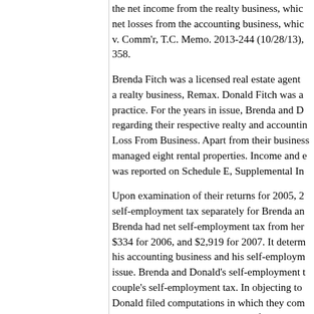the net income from the realty business, which net losses from the accounting business, whic v. Comm'r, T.C. Memo. 2013-244 (10/28/13), 358.
Brenda Fitch was a licensed real estate agent a realty business, Remax. Donald Fitch was a practice. For the years in issue, Brenda and D regarding their respective realty and accountin Loss From Business. Apart from their business managed eight rental properties. Income and e was reported on Schedule E, Supplemental In
Upon examination of their returns for 2005, 2 self-employment tax separately for Brenda an Brenda had net self-employment tax from her $334 for 2006, and $2,919 for 2007. It determ his accounting business and his self-employm issue. Brenda and Donald's self-employment t couple's self-employment tax. In objecting to Donald filed computations in which they com realty business with the net losses from Dona determined that they had net losses from self